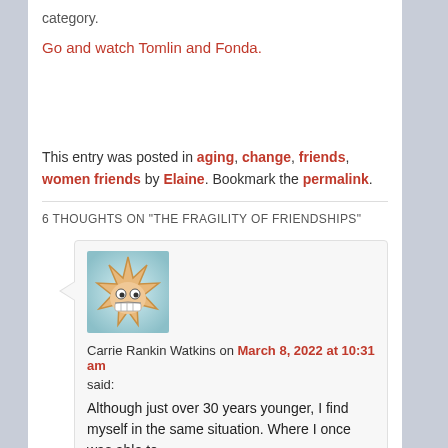category.
Go and watch Tomlin and Fonda.
This entry was posted in aging, change, friends, women friends by Elaine. Bookmark the permalink.
6 THOUGHTS ON "THE FRAGILITY OF FRIENDSHIPS"
[Figure (illustration): Avatar icon: cartoon sun/star face with big eyes and grinning teeth, set against a teal/light blue background]
Carrie Rankin Watkins on March 8, 2022 at 10:31 am said:
Although just over 30 years younger, I find myself in the same situation. Where I once was able to